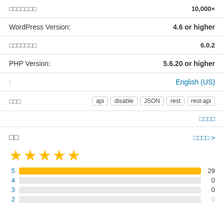□□□□□□□    10,000+
WordPress Version:    4.6 or higher
□□□□□□□    6.0.2
PHP Version:    5.6.20 or higher
:    English (US)
□□□    api  disable  JSON  rest  rest-api
□□□□
□□
□□□□ >
[Figure (other): 5 gold stars rating]
[Figure (bar-chart): Rating distribution]